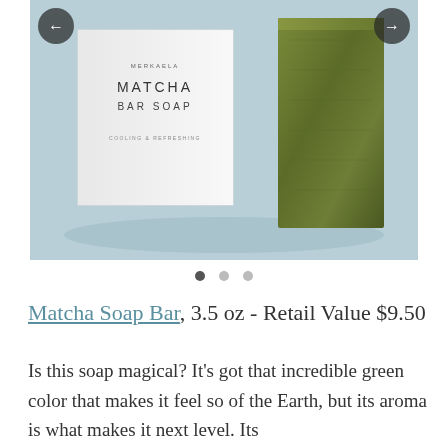[Figure (photo): Product photo showing a white Merkaela Matcha Bar Soap box and a rectangular dark green matcha soap bar, both set against a light blue background, with navigation arrow buttons on left and right sides.]
• • •
Matcha Soap Bar, 3.5 oz - Retail Value $9.50
Is this soap magical? It's got that incredible green color that makes it feel so of the Earth, but its aroma is what makes it next level. Its